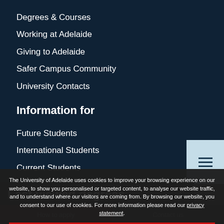Degrees & Courses
Working at Adelaide
Giving to Adelaide
Safer Campus Community
University Contacts
Information for
Future Students
International Students
Current Students
Current Staff
Future Staff
Alumni
Business & Industry
Last viewed degrees
The University of Adelaide uses cookies to improve your browsing experience on our website, to show you personalised or targeted content, to analyse our website traffic, and to understand where our visitors are coming from. By browsing our website, you consent to our use of cookies. For more information please read our privacy statement.
Accept and continue
How to apply
Contact us